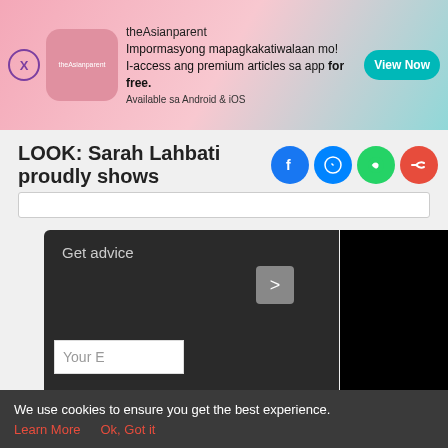[Figure (screenshot): theAsianparent app advertisement banner with pink gradient background, showing app logo, promotional text in Filipino, and a teal 'View Now' button]
LOOK: Sarah Lahbati proudly shows
[Figure (screenshot): Social share icons: Facebook (blue), Messenger (blue), WhatsApp (green), Share (red)]
[Figure (screenshot): Dark widget panel showing 'Get advice' text with arrow button and black video block, with 'Your E' text input field]
[Figure (screenshot): Bottom navigation bar with Tools, Articles, home icon (pink circle with baby feet), Feed, and Poll icons]
We use cookies to ensure you get the best experience.
Learn More   Ok, Got it